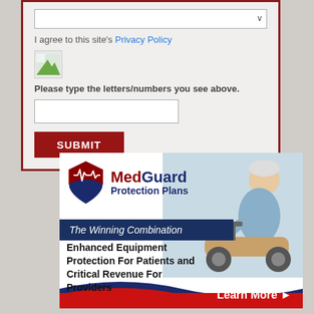I agree to this site's Privacy Policy
Please type the letters/numbers you see above.
[Figure (screenshot): Web form with dropdown, CAPTCHA image, text input, and SUBMIT button inside a dark red border]
[Figure (illustration): MedGuard Protection Plans advertisement with logo, 'The Winning Combination' banner, text about Enhanced Equipment Protection For Patients and Critical Revenue For Providers, and Learn More button]